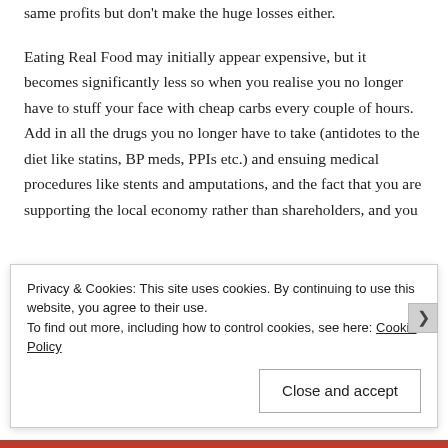same profits but don't make the huge losses either.

Eating Real Food may initially appear expensive, but it becomes significantly less so when you realise you no longer have to stuff your face with cheap carbs every couple of hours. Add in all the drugs you no longer have to take (antidotes to the diet like statins, BP meds, PPIs etc.) and ensuing medical procedures like stents and amputations, and the fact that you are supporting the local economy rather than shareholders, and you
Privacy & Cookies: This site uses cookies. By continuing to use this website, you agree to their use.
To find out more, including how to control cookies, see here: Cookie Policy